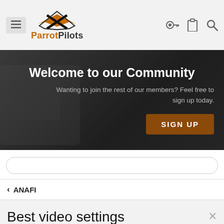[Figure (logo): ParrotPilots logo with stylized bird/wings icon and orange/black text]
[Figure (screenshot): Welcome to our Community banner with drone background image, subtitle text, and SIGN UP button]
Welcome to our Community
Wanting to join the rest of our members? Feel free to sign up today.
SIGN UP
ANAFI
Best video settings
dmbrody · Aug 10, 2018